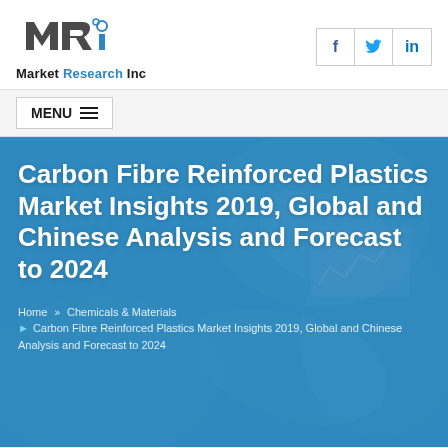[Figure (logo): Market Research Inc logo with stylized MRi text in grey and blue]
Market Research Inc
[Figure (other): Social media icons: Facebook (f), Twitter (bird), LinkedIn (in)]
MENU
Carbon Fibre Reinforced Plastics Market Insights 2019, Global and Chinese Analysis and Forecast to 2024
Home » Chemicals & Materials » Carbon Fibre Reinforced Plastics Market Insights 2019, Global and Chinese Analysis and Forecast to 2024